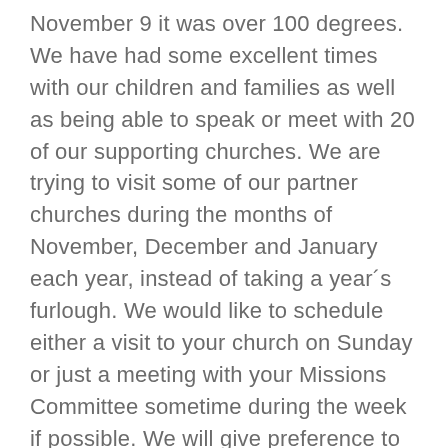November 9 it was over 100 degrees. We have had some excellent times with our children and families as well as being able to speak or meet with 20 of our supporting churches. We are trying to visit some of our partner churches during the months of November, December and January each year, instead of taking a year´s furlough. We would like to schedule either a visit to your church on Sunday or just a meeting with your Missions Committee sometime during the week if possible. We will give preference to those who respond first. Dates available for the end of 2018 and January 2019 are the following: Sunday dates available: December 9, 16, 30 – January 6, 13, and 20. We can work out meetings or visits during week nights if you let us know. Michael is also available on weekends to speak if